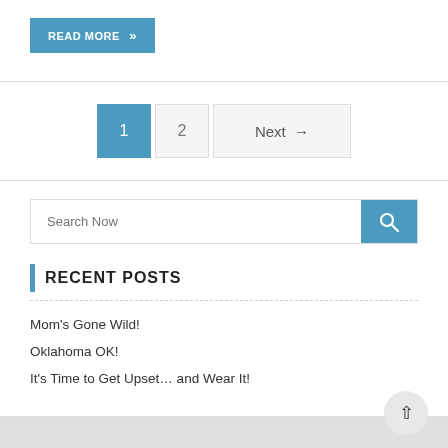READ MORE »
1  2  Next →
Search Now
RECENT POSTS
Mom's Gone Wild!
Oklahoma OK!
It's Time to Get Upset... and Wear It!